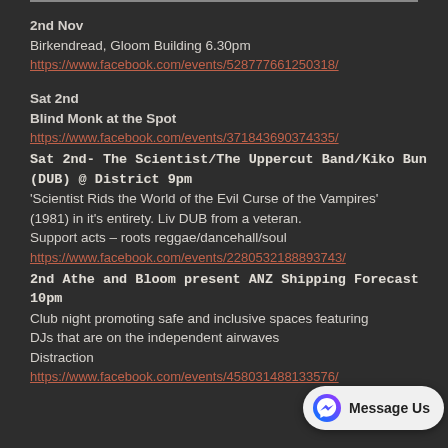2nd Nov
Birkendread, Gloom Building 6.30pm
https://www.facebook.com/events/528777661250318/
Sat 2nd
Blind Monk at the Spot
https://www.facebook.com/events/371843690374335/
Sat 2nd- The Scientist/The Uppercut Band/Kiko Bun (DUB) @ District 9pm
'Scientist Rids the World of the Evil Curse of the Vampires' (1981) in it's entirety. Liv DUB from a veteran.
Support acts – roots reggae/dancehall/soul
https://www.facebook.com/events/2280532188893743/
2nd Athe and Bloom present ANZ Shipping Forecast 10pm
Club night promoting safe and inclusive spaces featuring DJs that are on the independent airwaves Distraction
https://www.facebook.com/events/458031488133576/